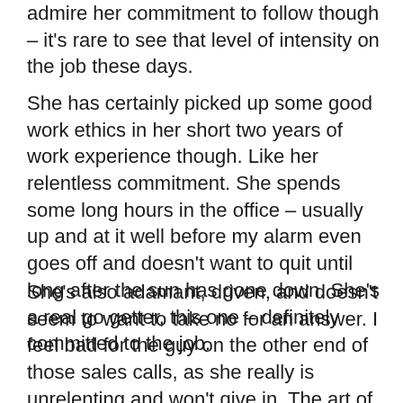admire her commitment to follow though – it's rare to see that level of intensity on the job these days.
She has certainly picked up some good work ethics in her short two years of work experience though. Like her relentless commitment. She spends some long hours in the office – usually up and at it well before my alarm even goes off and doesn't want to quit until long after the sun has gone down. She's a real go getter, this one – definitely committed to the job.
She's also adamant, driven, and doesn't seem to want to take no for an answer. I feel bad for the guy on the other end of those sales calls, as she really is unrelenting and won't give in. The art of compromise is apparently something she hasn't had a chance yet to cover in her business classes.